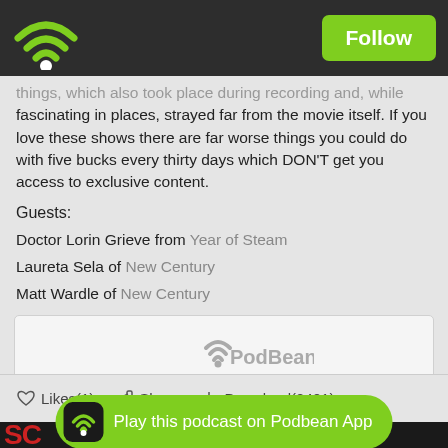Follow
things, which also took place during recording and, while fascinating in places, strayed far from the movie itself. If you love these shows there are far worse things you could do with five bucks every thirty days which DON'T get you access to exclusive content.
Guests:
Doctor Lorin Grieve from Year of Steam
Laureta Sela of New Century
Matt Wardle of New Century
[Figure (logo): PodBean embedded player placeholder with PodBean logo and dots]
Likes(1)   Share   Download(2401)
[Figure (illustration): Play this podcast on Podbean App button with wifi icon, on dark background with partial red SC logo text visible]